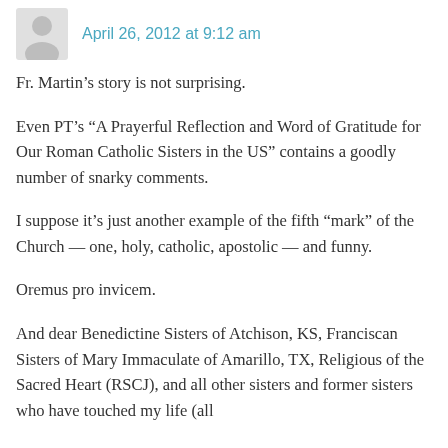April 26, 2012 at 9:12 am
Fr. Martin’s story is not surprising.
Even PT’s “A Prayerful Reflection and Word of Gratitude for Our Roman Catholic Sisters in the US” contains a goodly number of snarky comments.
I suppose it’s just another example of the fifth “mark” of the Church — one, holy, catholic, apostolic — and funny.
Oremus pro invicem.
And dear Benedictine Sisters of Atchison, KS, Franciscan Sisters of Mary Immaculate of Amarillo, TX, Religious of the Sacred Heart (RSCJ), and all other sisters and former sisters who have touched my life (all